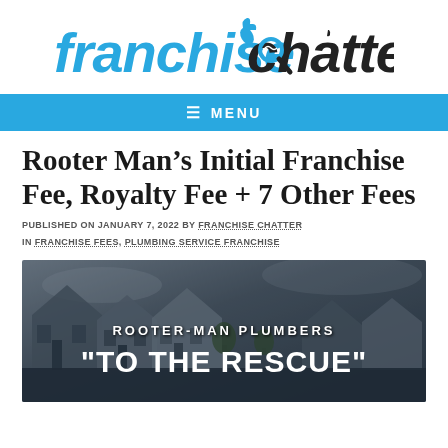franchise chatter
Rooter Man's Initial Franchise Fee, Royalty Fee + 7 Other Fees
PUBLISHED ON JANUARY 7, 2022 BY FRANCHISE CHATTER IN FRANCHISE FEES, PLUMBING SERVICE FRANCHISE
[Figure (photo): Photo of residential houses at dusk with overlay text reading: ROOTER-MAN PLUMBERS / "TO THE RESCUE"]